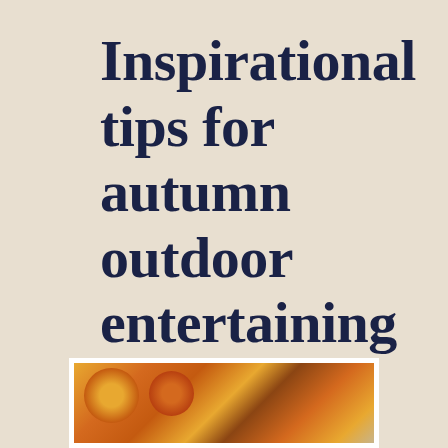Inspirational tips for autumn outdoor entertaining
[Figure (photo): Photo of autumn pumpkins and gourds arrangement, partially visible at bottom of page]